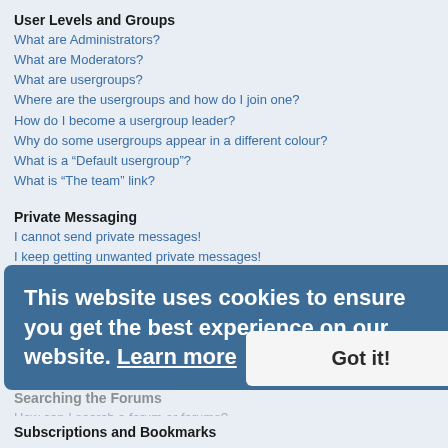User Levels and Groups
What are Administrators?
What are Moderators?
What are usergroups?
Where are the usergroups and how do I join one?
How do I become a usergroup leader?
Why do some usergroups appear in a different colour?
What is a “Default usergroup”?
What is “The team” link?
Private Messaging
I cannot send private messages!
I keep getting unwanted private messages!
I have received a spamming or abusive email from someone on this board!
Friends and Foes
What are my Friends and Foes lists?
How can I add / remove users to my Friends or Foes list?
Searching the Forums
How can I search a forum or forums?
Why does my search return no results?
Why does my search return a blank page!?
How do I search for members?
How can I find my own posts and topics?
Subscriptions and Bookmarks
[Figure (screenshot): Cookie consent overlay with text 'This website uses cookies to ensure you get the best experience on our website. Learn more' and a 'Got it!' button.]